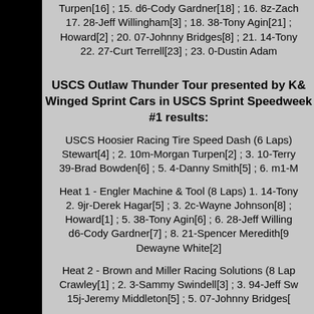Turpen[16] ; 15. d6-Cody Gardner[18] ; 16. 8z-Zach 17. 28-Jeff Willingham[3] ; 18. 38-Tony Agin[21] ; Howard[2] ; 20. 07-Johnny Bridges[8] ; 21. 14-Tony 22. 27-Curt Terrell[23] ; 23. 0-Dustin Adam
USCS Outlaw Thunder Tour presented by K& Winged Sprint Cars in USCS Sprint Speedweek #1 results:
USCS Hoosier Racing Tire Speed Dash (6 Laps) Stewart[4] ; 2. 10m-Morgan Turpen[2] ; 3. 10-Terry 39-Brad Bowden[6] ; 5. 4-Danny Smith[5] ; 6. m1-M
Heat 1 - Engler Machine & Tool (8 Laps) 1. 14-Tony 2. 9jr-Derek Hagar[5] ; 3. 2c-Wayne Johnson[8] ; Howard[1] ; 5. 38-Tony Agin[6] ; 6. 28-Jeff Willing d6-Cody Gardner[7] ; 8. 21-Spencer Meredith[9 Dewayne White[2]
Heat 2 - Brown and Miller Racing Solutions (8 Lap Crawley[1] ; 2. 3-Sammy Swindell[3] ; 3. 94-Jeff Sw 15j-Jeremy Middleton[5] ; 5. 07-Johnny Bridges[